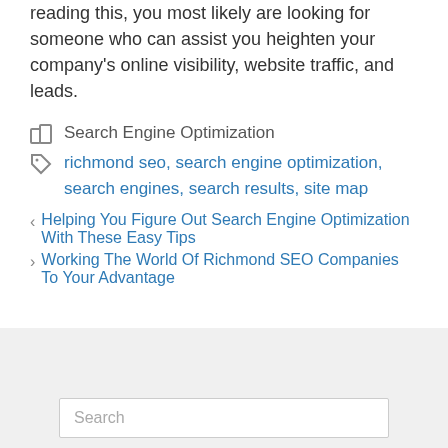reading this, you most likely are looking for someone who can assist you heighten your company's online visibility, website traffic, and leads.
Categories: Search Engine Optimization
Tags: richmond seo, search engine optimization, search engines, search results, site map
Helping You Figure Out Search Engine Optimization With These Easy Tips
Working The World Of Richmond SEO Companies To Your Advantage
Search